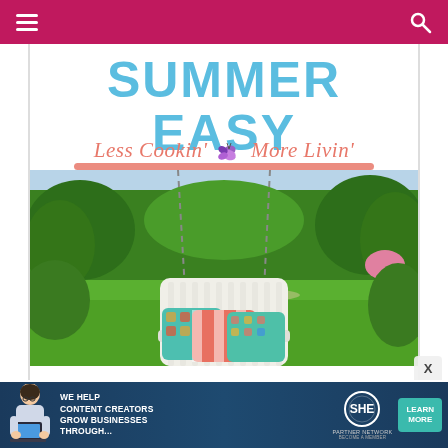Navigation header with menu and search icons
SUMMER EASY
Less Cookin' 🦋 More Livin'
[Figure (photo): Outdoor garden scene with a white Adirondack porch swing hanging from chains, with colorful coral/striped and teal/green pillows, surrounded by lush green trees and lawn]
[Figure (photo): SHE Partner Network advertisement banner: 'We help content creators grow businesses through...' with woman with laptop image, SHE circle logo, and teal 'Learn More' button]